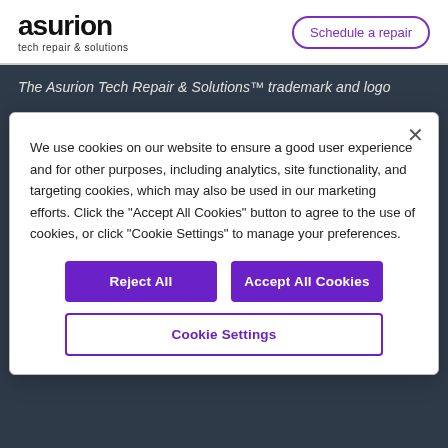[Figure (logo): Asurion logo: bold 'asurion' text with 'tech repair & solutions' subtitle]
Schedule a repair
The Asurion Tech Repair & Solutions™ trademark and logo
We use cookies on our website to ensure a good user experience and for other purposes, including analytics, site functionality, and targeting cookies, which may also be used in our marketing efforts. Click the "Accept All Cookies" button to agree to the use of cookies, or click "Cookie Settings" to manage your preferences.
Reject All
Accept All Cookies
Cookie Settings